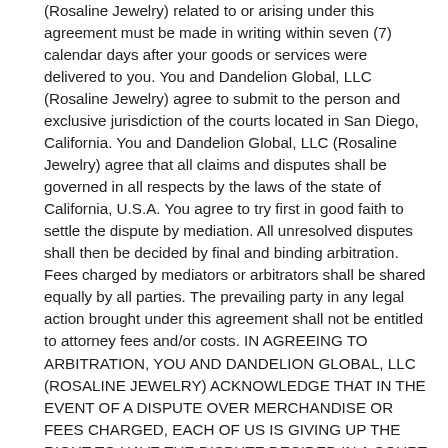(Rosaline Jewelry) related to or arising under this agreement must be made in writing within seven (7) calendar days after your goods or services were delivered to you. You and Dandelion Global, LLC (Rosaline Jewelry) agree to submit to the person and exclusive jurisdiction of the courts located in San Diego, California. You and Dandelion Global, LLC (Rosaline Jewelry) agree that all claims and disputes shall be governed in all respects by the laws of the state of California, U.S.A. You agree to try first in good faith to settle the dispute by mediation. All unresolved disputes shall then be decided by final and binding arbitration. Fees charged by mediators or arbitrators shall be shared equally by all parties. The prevailing party in any legal action brought under this agreement shall not be entitled to attorney fees and/or costs. IN AGREEING TO ARBITRATION, YOU AND DANDELION GLOBAL, LLC (ROSALINE JEWELRY) ACKNOWLEDGE THAT IN THE EVENT OF A DISPUTE OVER MERCHANDISE OR FEES CHARGED, EACH OF US IS GIVING UP THE RIGHT TO HAVE THE DISPUTE DECIDED IN A COURT OF LAW BEFORE A JUDGE OR JURY AND INSTEAD YOU AND DANDELION GLOBAL, LLC (ROSALINE JEWELRY) ARE ACCEPTING THE USE OF ARBITRATION FOR RESOLUTION. YOU AND DANDELION GLOBAL, LLC (ROSALINE JEWELRY) WILL PAY EQUALLY FOR THE ARBITRATION SERVICES. Any award in arbitration shall be finally determined by...